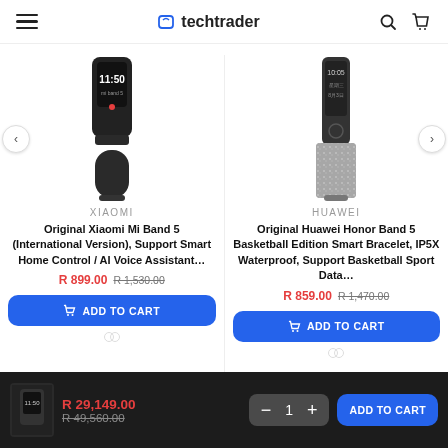techtrader
[Figure (photo): Xiaomi Mi Band 5 smart fitness band in black, showing display with 11:50 time]
XIAOMI
Original Xiaomi Mi Band 5 (International Version), Support Smart Home Control / AI Voice Assistant…
R 899.00  R 1,530.00
[Figure (photo): Huawei Honor Band 5 Basketball Edition smart bracelet with sparkly strap]
HUAWEI
Original Huawei Honor Band 5 Basketball Edition Smart Bracelet, IP5X Waterproof, Support Basketball Sport Data…
R 859.00  R 1,470.00
R 29,149.00  R 49,560.00  1  ADD TO CART